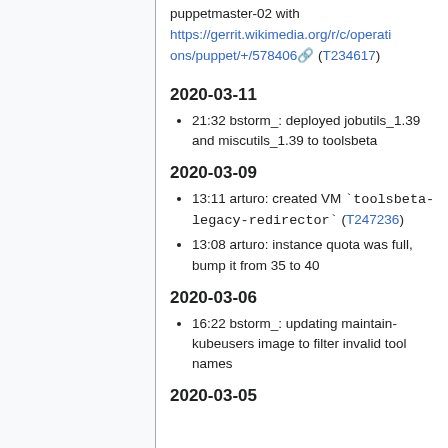puppetmaster-02 with https://gerrit.wikimedia.org/r/c/operations/puppet/+/578406 (T234617)
2020-03-11
21:32 bstorm_: deployed jobutils_1.39 and miscutils_1.39 to toolsbeta
2020-03-09
13:11 arturo: created VM `toolsbeta-legacy-redirector` (T247236)
13:08 arturo: instance quota was full, bump it from 35 to 40
2020-03-06
16:22 bstorm_: updating maintain-kubeusers image to filter invalid tool names
2020-03-05